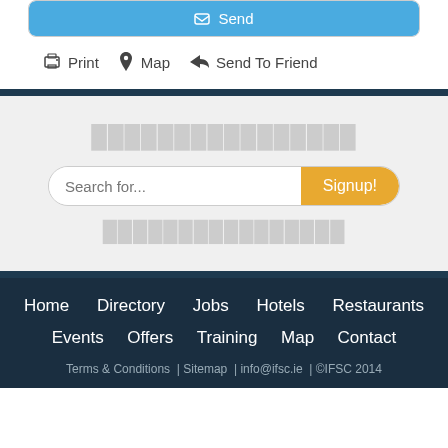[Figure (screenshot): Blue Send button inside a card box]
Print
Map
Send To Friend
[Figure (screenshot): Search bar with placeholder 'Search for...' and orange 'Signup!' button]
Home  Directory  Jobs  Hotels  Restaurants  Events  Offers  Training  Map  Contact  Terms & Conditions | Sitemap | info@ifsc.ie | ©IFSC 2014